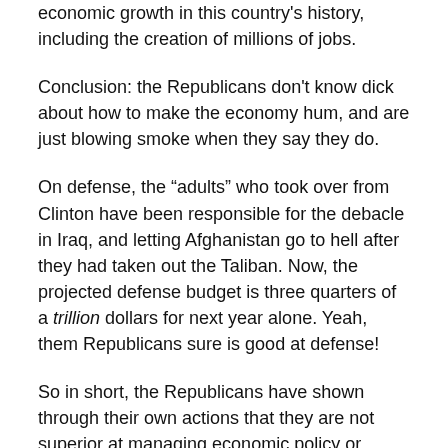economic growth in this country's history, including the creation of millions of jobs.
Conclusion: the Republicans don't know dick about how to make the economy hum, and are just blowing smoke when they say they do.
On defense, the “adults” who took over from Clinton have been responsible for the debacle in Iraq, and letting Afghanistan go to hell after they had taken out the Taliban. Now, the projected defense budget is three quarters of a trillion dollars for next year alone. Yeah, them Republicans sure is good at defense!
So in short, the Republicans have shown through their own actions that they are not superior at managing economic policy or defense. So Democrats, show some friggin’ backbone when they accuse you of it!